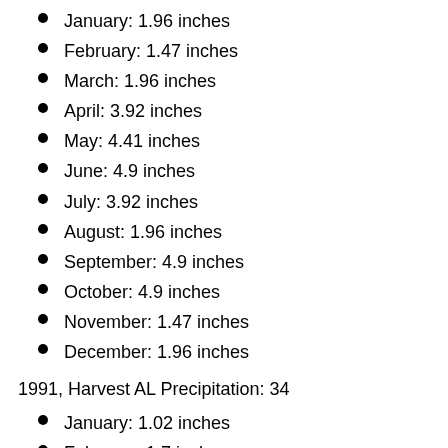January: 1.96 inches
February: 1.47 inches
March: 1.96 inches
April: 3.92 inches
May: 4.41 inches
June: 4.9 inches
July: 3.92 inches
August: 1.96 inches
September: 4.9 inches
October: 4.9 inches
November: 1.47 inches
December: 1.96 inches
1991, Harvest AL Precipitation: 34
January: 1.02 inches
February: 1.7 inches
March: 1.7 inches
April: 3.06 inches
May: 3.4 inches